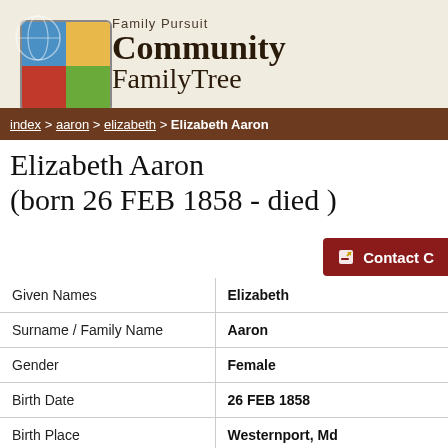[Figure (logo): Family Pursuit Community FamilyTree logo with four-quadrant colored globe icon (blue, yellow, red, green)]
Family Pursuit Community FamilyTree
index > aaron > elizabeth > Elizabeth Aaron
Elizabeth Aaron (born 26 FEB 1858 - died )
| Field | Value |
| --- | --- |
| Given Names | Elizabeth |
| Surname / Family Name | Aaron |
| Gender | Female |
| Birth Date | 26 FEB 1858 |
| Birth Place | Westernport, Md |
| Death Date |  |
| Death Place |  |